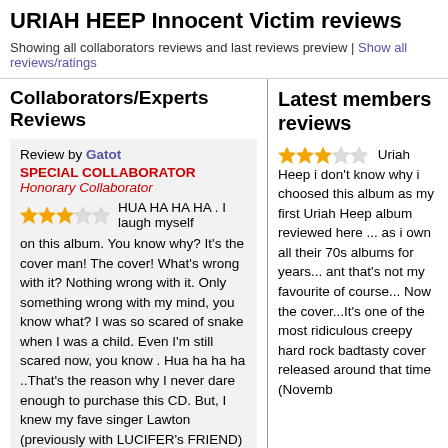URIAH HEEP Innocent Victim reviews
Showing all collaborators reviews and last reviews preview | Show all reviews/ratings
Collaborators/Experts Reviews
Review by Gatot
SPECIAL COLLABORATOR Honorary Collaborator
★★★☆☆ HUA HA HA HA . I laugh myself on this album. You know why? It's the cover man! The cover! What's wrong with it? Nothing wrong with it. Only something wrong with my mind, you know what? I was so scared of snake when I was a child. Even I'm still scared now, you know . Hua ha ha ha ..That's the reason why I never dare enough to purchase this CD. But, I knew my fave singer Lawton (previously with LUCIFER's FRIEND) took part in this album and .. I loved THE DANCE as it was once a hit in our country
Latest members reviews
★★★☆☆ Uriah Heep i don't know why i choosed this album as my first Uriah Heep album reviewed here ... as i own all their 70s albums for years... ant that's not my favourite of course... Now the cover...It's one of the most ridiculous creepy hard rock badtasty cover released around that time (Novemb